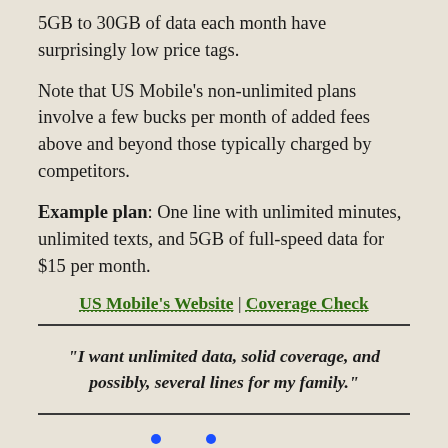5GB to 30GB of data each month have surprisingly low price tags.
Note that US Mobile's non-unlimited plans involve a few bucks per month of added fees above and beyond those typically charged by competitors.
Example plan: One line with unlimited minutes, unlimited texts, and 5GB of full-speed data for $15 per month.
US Mobile's Website | Coverage Check
“I want unlimited data, solid coverage, and possibly, several lines for my family.”
[Figure (logo): Visible logo in bold blue text]
Visible is powered by Verizon and offers its customers the